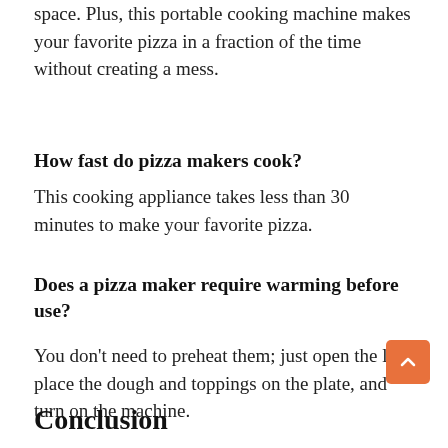space. Plus, this portable cooking machine makes your favorite pizza in a fraction of the time without creating a mess.
How fast do pizza makers cook?
This cooking appliance takes less than 30 minutes to make your favorite pizza.
Does a pizza maker require warming before use?
You don’t need to preheat them; just open the lid, place the dough and toppings on the plate, and turn on the machine.
Conclusion